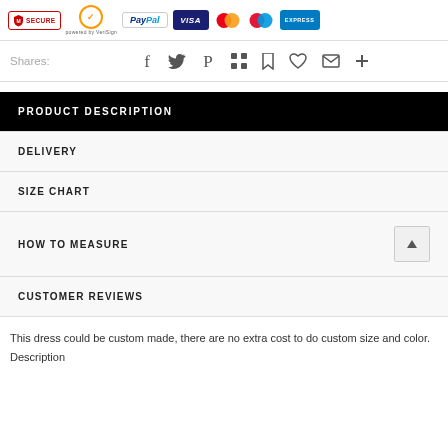[Figure (other): Payment security badges row: McAfee SECURE, VeriSign SECURED, PayPal, Visa, Mastercard, Maestro, American Express logos]
Shares:
[Figure (other): Social sharing icons: Facebook, Twitter, Pinterest, Grid/App, Bookmark, Heart, Email, Plus]
PRODUCT DESCRIPTION
DELIVERY
SIZE CHART
HOW TO MEASURE
CUSTOMER REVIEWS
This dress could be custom made, there are no extra cost to do custom size and color.
Description